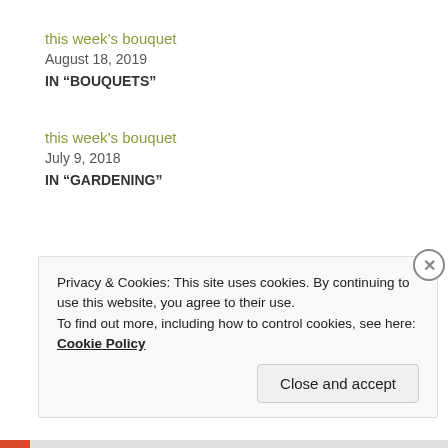this week’s bouquet
August 18, 2019
IN “BOUQUETS”
this week’s bouquet
July 9, 2018
IN “GARDENING”
Privacy & Cookies: This site uses cookies. By continuing to use this website, you agree to their use. To find out more, including how to control cookies, see here: Cookie Policy
Close and accept